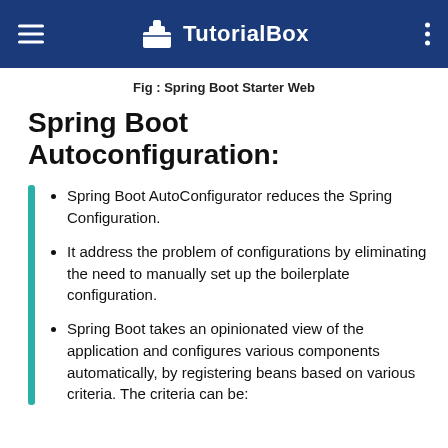TutorialBox
Fig : Spring Boot Starter Web
Spring Boot Autoconfiguration:
Spring Boot AutoConfigurator reduces the Spring Configuration.
It address the problem of configurations by eliminating the need to manually set up the boilerplate configuration.
Spring Boot takes an opinionated view of the application and configures various components automatically, by registering beans based on various criteria. The criteria can be: